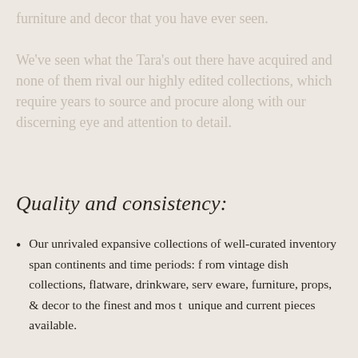furniture and decor that you have ever seen. We've seen what the Tara's out there have acquired and none of them rival our highly edited collections, which require years to source and procure along with our discerning eye and attention to detail.
Quality and consistency:
Our unrivaled expansive collections of well-curated inventory span continents and time periods: from vintage dish collections, flatware, drinkware, serv eware, furniture, props, & decor to the finest and most unique and current pieces available.